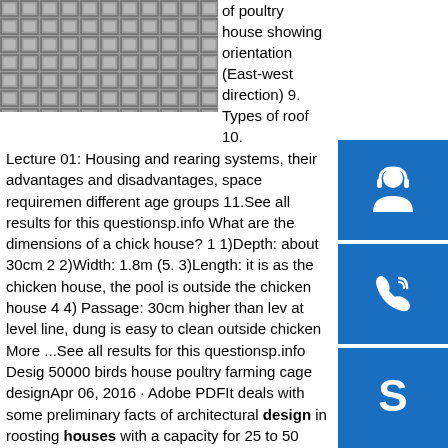[Figure (photo): Photo of poultry house / cage structure showing grid/mesh pattern, East-west orientation]
of poultry house showing orientation (East-west direction) 9. Types of roof 10.
Lecture 01: Housing and rearing systems, their advantages and disadvantages, space requirements different age groups 11.See all results for this questionsp.info What are the dimensions of a chicken house? 1 1)Depth: about 30cm 2 2)Width: 1.8m (5. 3)Length: it is as the chicken house, the pool is outside the chicken house 4 4) Passage: 30cm higher than level at level line, dung is easy to clean outside chicken More ...See all results for this questionsp.info Design 50000 birds house poultry farming cage designApr 06, 2016 · Adobe PDFIt deals with some preliminary facts of architectural design in roosting houses with a capacity for 25 to 50 birds each. F. Open Shed Cage House County Poultry Farm Advisor, produced the dates and names of the house type con or four ranches with 50,000 birds or more; this is out of a 1962 total of 300 operators .sp.info